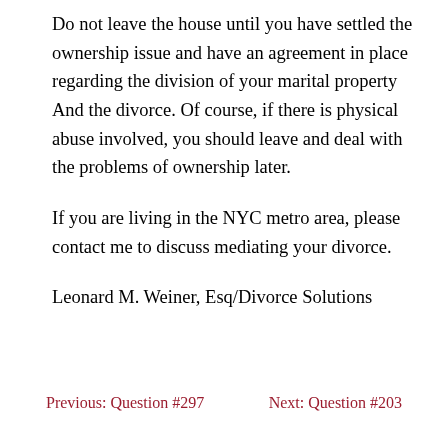Do not leave the house until you have settled the ownership issue and have an agreement in place regarding the division of your marital property And the divorce. Of course, if there is physical abuse involved, you should leave and deal with the problems of ownership later.
If you are living in the NYC metro area, please contact me to discuss mediating your divorce.
Leonard M. Weiner, Esq/Divorce Solutions
Previous: Question #297    Next: Question #203